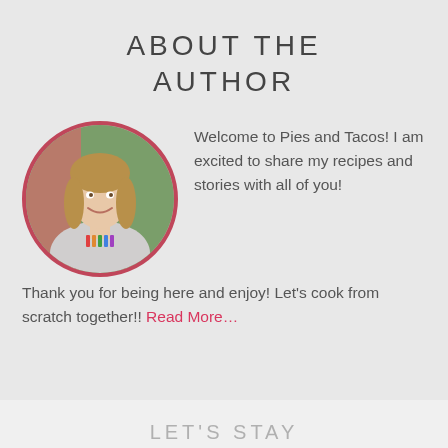ABOUT THE AUTHOR
[Figure (photo): Circular portrait photo of a smiling woman with long brown hair wearing a light colored shirt with colorful design, bordered with a dark pink/red circle]
Welcome to Pies and Tacos! I am excited to share my recipes and stories with all of you! Thank you for being here and enjoy! Let's cook from scratch together!! Read More…
LET'S STAY